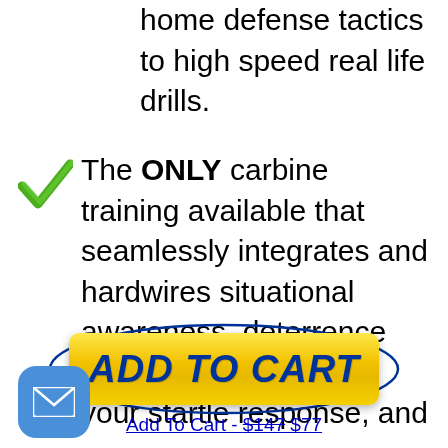home defense tactics to high speed real life drills.
The ONLY carbine training available that seamlessly integrates and hardwires situational awareness, deterrence skills, reprogramming your startle response, and more.
[Figure (other): Yellow 'ADD TO CART' button with blue oval border outline]
Add To Cart - $147 $77
[Figure (other): Blue rounded square email/envelope icon button in bottom left corner]